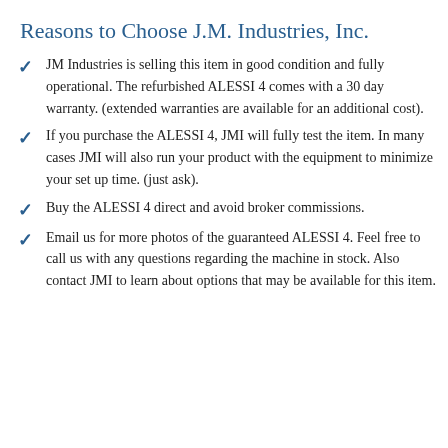Reasons to Choose J.M. Industries, Inc.
JM Industries is selling this item in good condition and fully operational. The refurbished ALESSI 4 comes with a 30 day warranty. (extended warranties are available for an additional cost).
If you purchase the ALESSI 4, JMI will fully test the item. In many cases JMI will also run your product with the equipment to minimize your set up time. (just ask).
Buy the ALESSI 4 direct and avoid broker commissions.
Email us for more photos of the guaranteed ALESSI 4. Feel free to call us with any questions regarding the machine in stock. Also contact JMI to learn about options that may be available for this item.